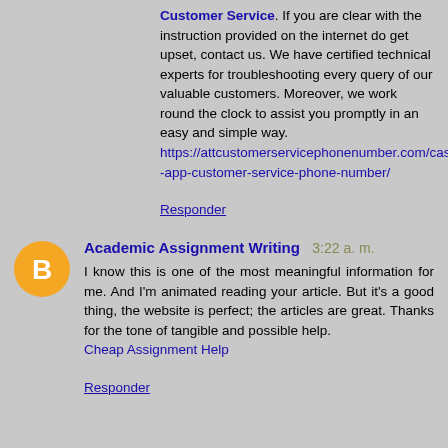Customer Service. If you are clear with the instruction provided on the internet do get upset, contact us. We have certified technical experts for troubleshooting every query of our valuable customers. Moreover, we work round the clock to assist you promptly in an easy and simple way. https://attcustomerservicephonenumber.com/cash-app-customer-service-phone-number/
Responder
Academic Assignment Writing 3:22 a. m.
I know this is one of the most meaningful information for me. And I'm animated reading your article. But it's a good thing, the website is perfect; the articles are great. Thanks for the tone of tangible and possible help. Cheap Assignment Help
Responder